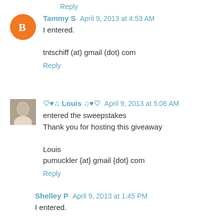Reply
Tammy S  April 9, 2013 at 4:53 AM
I entered.

tntschiff (at) gmail (dot) com
Reply
♡♥♫ Louis ♫♥♡  April 9, 2013 at 5:06 AM
entered the sweepstakes
Thank you for hosting this giveaway

Louis
pumuckler {at} gmail {dot} com
Reply
Shelley P  April 9, 2013 at 1:45 PM
I entered.